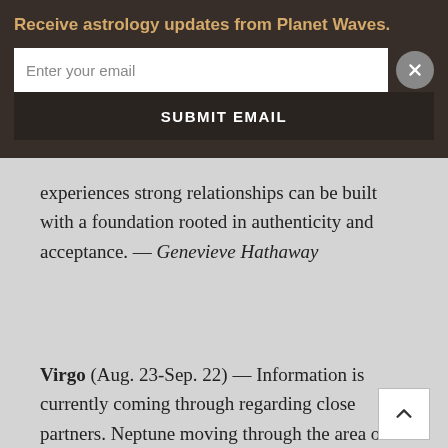Receive astrology updates from Planet Waves.
Enter your email
SUBMIT EMAIL
experiences strong relationships can be built with a foundation rooted in authenticity and acceptance. — Genevieve Hathaway
Virgo (Aug. 23-Sep. 22) — Information is currently coming through regarding close partners. Neptune moving through the area of your chart of